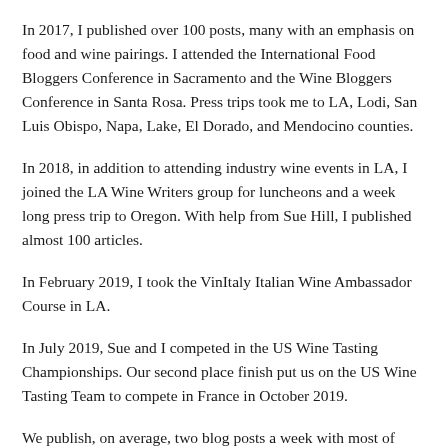In 2017, I published over 100 posts, many with an emphasis on food and wine pairings. I attended the International Food Bloggers Conference in Sacramento and the Wine Bloggers Conference in Santa Rosa. Press trips took me to LA, Lodi, San Luis Obispo, Napa, Lake, El Dorado, and Mendocino counties.
In 2018, in addition to attending industry wine events in LA, I joined the LA Wine Writers group for luncheons and a week long press trip to Oregon. With help from Sue Hill, I published almost 100 articles.
In February 2019, I took the VinItaly Italian Wine Ambassador Course in LA.
In July 2019, Sue and I competed in the US Wine Tasting Championships. Our second place finish put us on the US Wine Tasting Team to compete in France in October 2019.
We publish, on average, two blog posts a week with most of them featuring food and wine pairings as well as tasting notes and information about the winery.
Areas of interest and expertise include bio learning in food and wine...